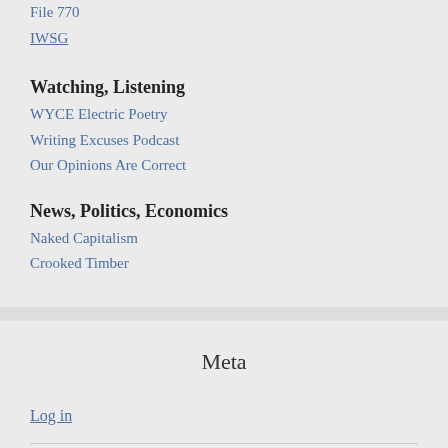File 770
IWSG
Watching, Listening
WYCE Electric Poetry
Writing Excuses Podcast
Our Opinions Are Correct
News, Politics, Economics
Naked Capitalism
Crooked Timber
Meta
Log in